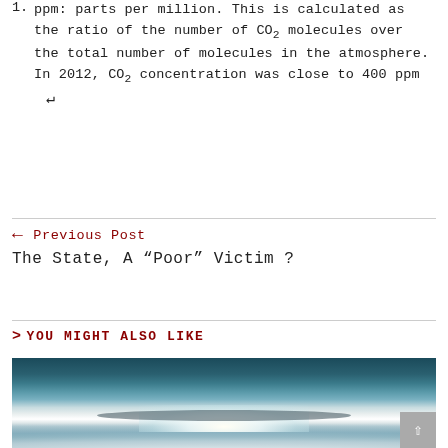1. ppm: parts per million. This is calculated as the ratio of the number of CO₂ molecules over the total number of molecules in the atmosphere. In 2012, CO₂ concentration was close to 400 ppm ↵
← Previous Post
The State, A "Poor" Victim ?
> YOU MIGHT ALSO LIKE
[Figure (photo): Dramatic sky photograph showing clouds with a bright light burst in the center, dark stormy clouds below, and a teal/dark blue upper sky.]